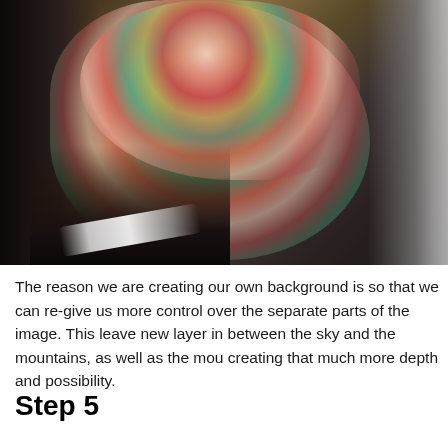[Figure (photo): A person wearing a colorful paisley-patterned fabric/clothing with red, pink, teal, and yellow floral and scrollwork designs, against a dark mountainous background. The composition shows mostly the draped fabric with dark hair/feathers and a silver metallic edge on the right side.]
The reason we are creating our own background is so that we can re-give us more control over the separate parts of the image. This leave new layer in between the sky and the mountains, as well as the mou creating that much more depth and possibility.
Step 5